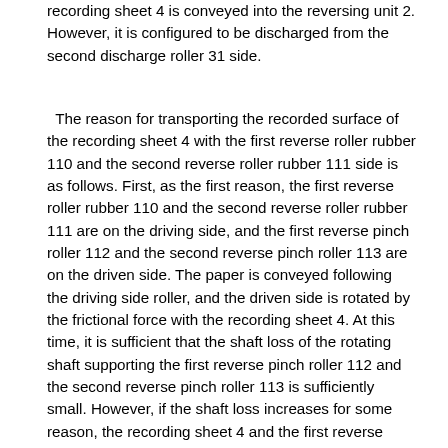recording sheet 4 is conveyed into the reversing unit 2. However, it is configured to be discharged from the second discharge roller 31 side.
The reason for transporting the recorded surface of the recording sheet 4 with the first reverse roller rubber 110 and the second reverse roller rubber 111 side is as follows. First, as the first reason, the first reverse roller rubber 110 and the second reverse roller rubber 111 are on the driving side, and the first reverse pinch roller 112 and the second reverse pinch roller 113 are on the driven side. The paper is conveyed following the driving side roller, and the driven side is rotated by the frictional force with the recording sheet 4. At this time, it is sufficient that the shaft loss of the rotating shaft supporting the first reverse pinch roller 112 and the second reverse pinch roller 113 is sufficiently small. However, if the shaft loss increases for some reason, the recording sheet 4 and the first reverse pinch There is a possibility that slip occurs between the roller 112 and the second reverse pinch roller 113. The recording portion recorded on the recording sheet 4 is dried to the extent that the ink is not transferred by contact with the roller, but the ink may be peeled off from the surface of the